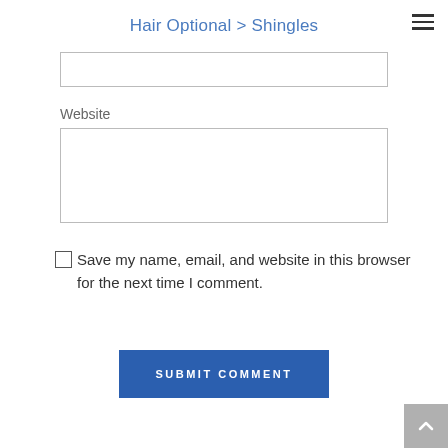Hair Optional > Shingles
Website
Save my name, email, and website in this browser for the next time I comment.
[Figure (other): Submit Comment button — blue rectangular button with white uppercase text 'SUBMIT COMMENT']